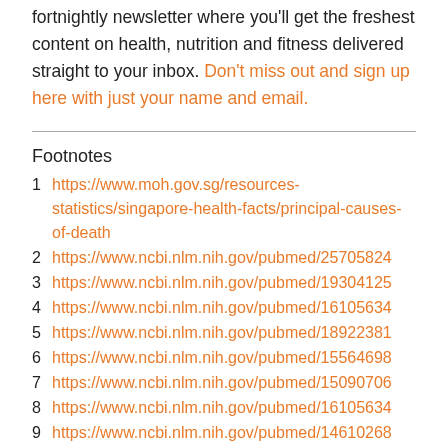fortnightly newsletter where you'll get the freshest content on health, nutrition and fitness delivered straight to your inbox. Don't miss out and sign up here with just your name and email.
Footnotes
1 https://www.moh.gov.sg/resources-statistics/singapore-health-facts/principal-causes-of-death
2 https://www.ncbi.nlm.nih.gov/pubmed/25705824
3 https://www.ncbi.nlm.nih.gov/pubmed/19304125
4 https://www.ncbi.nlm.nih.gov/pubmed/16105634
5 https://www.ncbi.nlm.nih.gov/pubmed/18922381
6 https://www.ncbi.nlm.nih.gov/pubmed/15564698
7 https://www.ncbi.nlm.nih.gov/pubmed/15090706
8 https://www.ncbi.nlm.nih.gov/pubmed/16105634
9 https://www.ncbi.nlm.nih.gov/pubmed/14610268